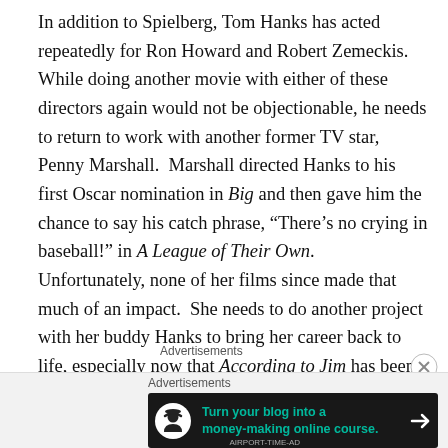In addition to Spielberg, Tom Hanks has acted repeatedly for Ron Howard and Robert Zemeckis.  While doing another movie with either of these directors again would not be objectionable, he needs to return to work with another former TV star, Penny Marshall.  Marshall directed Hanks to his first Oscar nomination in Big and then gave him the chance to say his catch phrase, “There’s no crying in baseball!” in A League of Their Own.  Unfortunately, none of her films since made that much of an impact.  She needs to do another project with her buddy Hanks to bring her career back to life, especially now that According to Jim has been cancelled.
Advertisements
[Figure (other): Advertisement banner: dark background with Teachable logo icon (person with graduation cap), green text 'Turn your blog into a money-making online course.' and right arrow.]